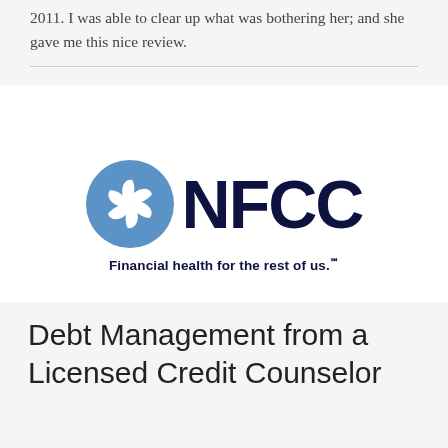2011. I was able to clear up what was bothering her; and she gave me this nice review.
[Figure (logo): NFCC logo with blue pinwheel icon and dark navy 'NFCC' wordmark, tagline: Financial health for the rest of us.℠]
Debt Management from a Licensed Credit Counselor